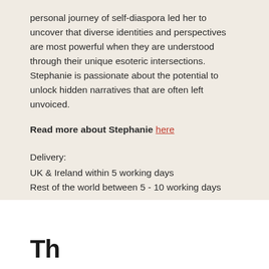personal journey of self-diaspora led her to uncover that diverse identities and perspectives are most powerful when they are understood through their unique esoteric intersections. Stephanie is passionate about the potential to unlock hidden narratives that are often left unvoiced.
Read more about Stephanie here
Delivery:
UK & Ireland within 5 working days
Rest of the world between 5 - 10 working days
Th